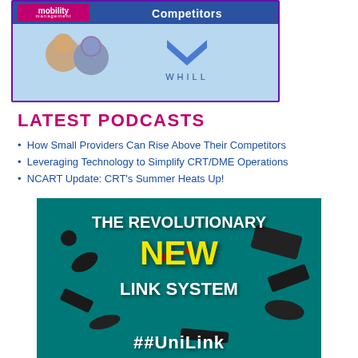[Figure (photo): Mobility Management podcast image showing two men smiling, with WHILL logo (blue chevron and text) on teal/blue background, topped with purple-bordered banner reading 'mobility management' and 'Competitors']
LATEST PODCASTS
How Small Providers Can Rise Above Their Competitors
Leveraging Technology to Simplify CRT/DME Operations
NCART Update: CRT's Summer Heats Up!
[Figure (photo): Advertisement on teal background with mechanical parts/components scattered around. Text reads: THE REVOLUTIONARY NEW LINK SYSTEM, with 'NEW' in bold yellow and partial brand name 'UniLink' visible at bottom]